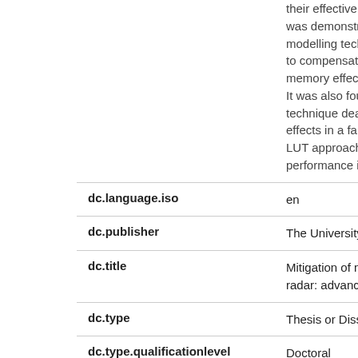| Field | Value |
| --- | --- |
|  | their effectiveness. Impo was demonstrated that th modelling techniques can to compensate for compl memory effects generate It was also found that the technique dealt with the effects in a far more robu LUT approach leading to performance in the mem |
| dc.language.iso | en |
| dc.publisher | The University of Edinbu |
| dc.title | Mitigation of nonlinear re modern radar: advanced techniques |
| dc.type | Thesis or Dissertation |
| dc.type.qualificationlevel | Doctoral |
| dc.type.qualificationname | PhD Doctor of Philosoph |